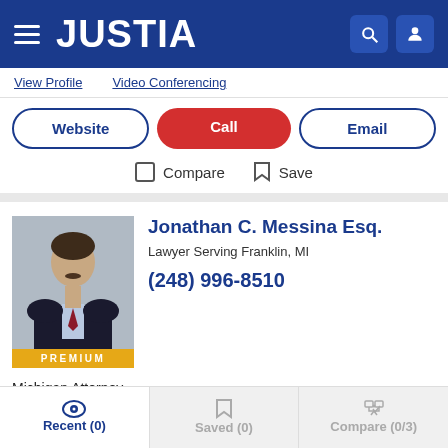JUSTIA
View Profile   Video Conferencing
Website  Call  Email
Compare  Save
Jonathan C. Messina Esq.
Lawyer Serving Franklin, MI
(248) 996-8510
PREMIUM
Michigan Attorney
View Profile
Recent (0)  Saved (0)  Compare (0/3)